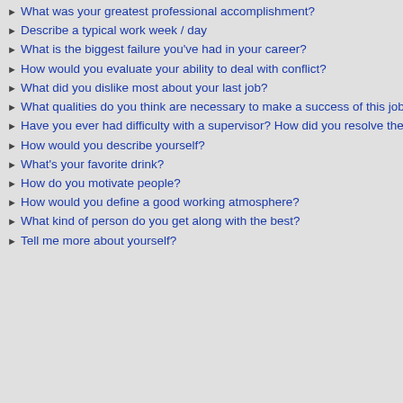What was your greatest professional accomplishment?
Describe a typical work week / day
What is the biggest failure you've had in your career?
How would you evaluate your ability to deal with conflict?
What did you dislike most about your last job?
What qualities do you think are necessary to make a success of this job?
Have you ever had difficulty with a supervisor? How did you resolve the conflict?
How would you describe yourself?
What's your favorite drink?
How do you motivate people?
How would you define a good working atmosphere?
What kind of person do you get along with the best?
Tell me more about yourself?
Deadline Changed
“One Friday the boss let Monday. I got him to buy could get the job done o…
Someone Dropped the B…
“One of our producers c… project. I sat down with h… finished all the work ahe…
Non Specific Example:
“When things get really t… Sometimes it means a fe…
Avoid this answer, given the restroom for a good c…
Tags: How do you handle manage/handle pressure…
This entry was posted on…
RSS 2.0 feed. Both comm…